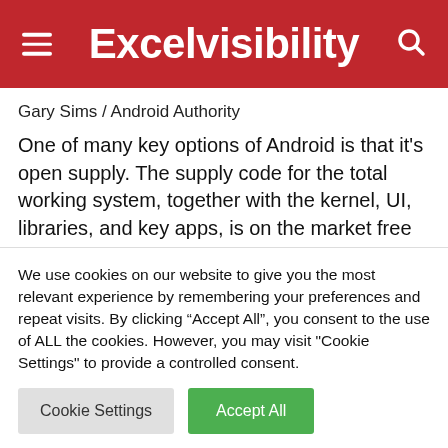Excelvisibility
Gary Sims / Android Authority
One of many key options of Android is that it’s open supply. The supply code for the total working system, together with the kernel, UI, libraries, and key apps, is on the market free of charge. Because of this anybody (with the best technical abilities) can construct Android from supply and flash it onto a
We use cookies on our website to give you the most relevant experience by remembering your preferences and repeat visits. By clicking “Accept All”, you consent to the use of ALL the cookies. However, you may visit "Cookie Settings" to provide a controlled consent.